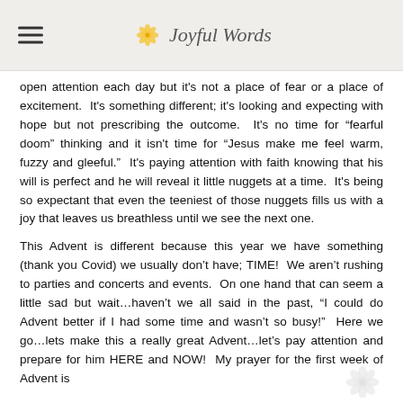Joyful Words
open attention each day but it's not a place of fear or a place of excitement.  It's something different; it's looking and expecting with hope but not prescribing the outcome.  It's no time for “fearful doom” thinking and it isn't time for “Jesus make me feel warm, fuzzy and gleeful.”  It's paying attention with faith knowing that his will is perfect and he will reveal it little nuggets at a time.  It's being so expectant that even the teeniest of those nuggets fills us with a joy that leaves us breathless until we see the next one.
This Advent is different because this year we have something (thank you Covid) we usually don’t have; TIME!  We aren’t rushing to parties and concerts and events.  On one hand that can seem a little sad but wait…haven’t we all said in the past, “I could do Advent better if I had some time and wasn’t so busy!”  Here we go…lets make this a really great Advent…let’s pay attention and prepare for him HERE and NOW!  My prayer for the first week of Advent is